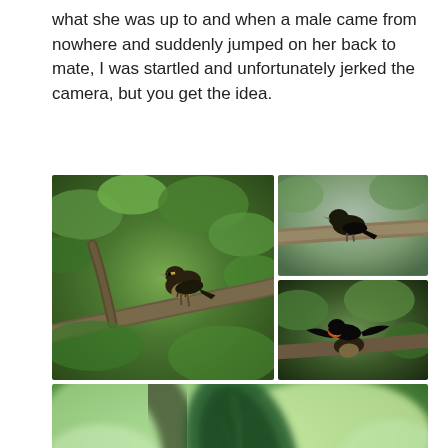what she was up to and when a male came from nowhere and suddenly jumped on her back to mate, I was startled and unfortunately jerked the camera, but you get the idea.
[Figure (photo): A collage of four bird photographs. Top-left: a streaked female red-winged blackbird perched on a branch amid green leaves. Top-right upper: a dark bird silhouette on a branch. Top-right lower: a male red-winged blackbird with red/orange shoulder patch displayed, wings spread, mounting a female. Bottom: a blurry close-up of green leaves and branches, camera-jerked image.]